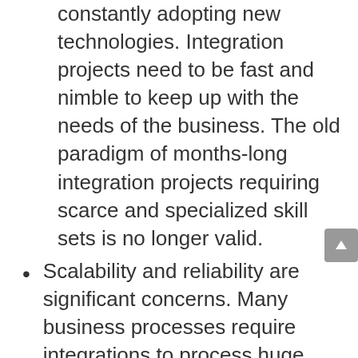constantly adopting new technologies. Integration projects need to be fast and nimble to keep up with the needs of the business. The old paradigm of months-long integration projects requiring scarce and specialized skill sets is no longer valid.
Scalability and reliability are significant concerns. Many business processes require integrations to process huge amounts of data, often in lumpy bursts (for example, running payroll with millions of records for thousands of employees). Integrations can't be a bottleneck, and iPaaSs need rapid and automatic scalable surge capacity. When transient issues occur, the integration platform needs to detect